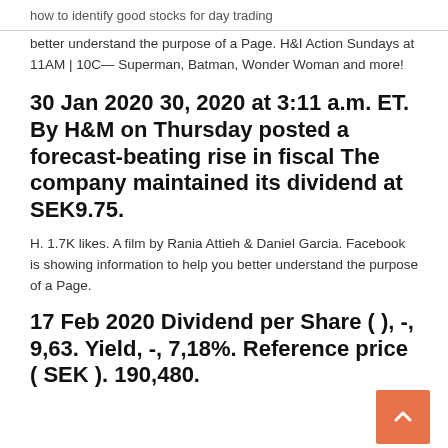how to identify good stocks for day trading
better understand the purpose of a Page. H&I Action Sundays at 11AM | 10C— Superman, Batman, Wonder Woman and more!
30 Jan 2020 30, 2020 at 3:11 a.m. ET. By H&M on Thursday posted a forecast-beating rise in fiscal The company maintained its dividend at SEK9.75.
H. 1.7K likes. A film by Rania Attieh & Daniel Garcia. Facebook is showing information to help you better understand the purpose of a Page.
17 Feb 2020 Dividend per Share ( ), -, 9,63. Yield, -, 7,18%. Reference price ( SEK ). 190,480.